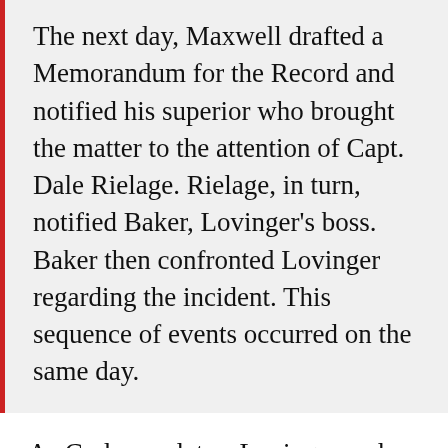The next day, Maxwell drafted a Memorandum for the Record and notified his superior who brought the matter to the attention of Capt. Dale Rielage. Rielage, in turn, notified Baker, Lovinger's boss. Baker then confronted Lovinger regarding the incident. This sequence of events occurred on the same day.
As Carlson relates, Lovinger and Maxwell didn't know each other when they boarded the plane. But apparently, they discovered while chatting briefly together that they both worked in the DOD (Maxwell was on